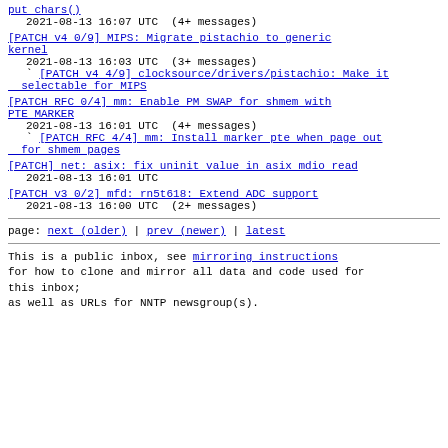put chars()
  2021-08-13 16:07 UTC  (4+ messages)
[PATCH v4 0/9] MIPS: Migrate pistachio to generic kernel
  2021-08-13 16:03 UTC  (3+ messages)
  ` [PATCH v4 4/9] clocksource/drivers/pistachio: Make it selectable for MIPS
[PATCH RFC 0/4] mm: Enable PM SWAP for shmem with PTE MARKER
  2021-08-13 16:01 UTC  (4+ messages)
  ` [PATCH RFC 4/4] mm: Install marker pte when page out for shmem pages
[PATCH] net: asix: fix uninit value in asix mdio read
  2021-08-13 16:01 UTC
[PATCH v3 0/2] mfd: rn5t618: Extend ADC support
  2021-08-13 16:00 UTC  (2+ messages)
page: next (older) | prev (newer) | latest
This is a public inbox, see mirroring instructions
for how to clone and mirror all data and code used for
this inbox;
as well as URLs for NNTP newsgroup(s).